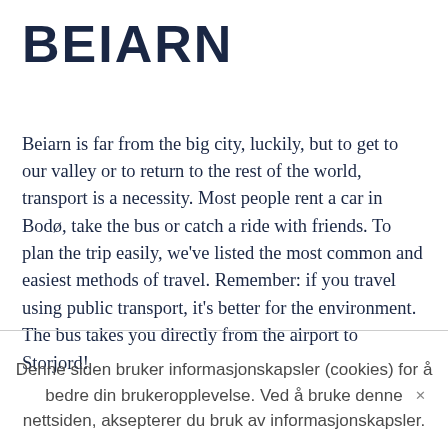BEIARN
Beiarn is far from the big city, luckily, but to get to our valley or to return to the rest of the world, transport is a necessity. Most people rent a car in Bodø, take the bus or catch a ride with friends. To plan the trip easily, we've listed the most common and easiest methods of travel. Remember: if you travel using public transport, it's better for the environment. The bus takes you directly from the airport to Storjord!
Denne siden bruker informasjonskapsler (cookies) for å bedre din brukeropplevelse. Ved å bruke denne nettsiden, aksepterer du bruk av informasjonskapsler.